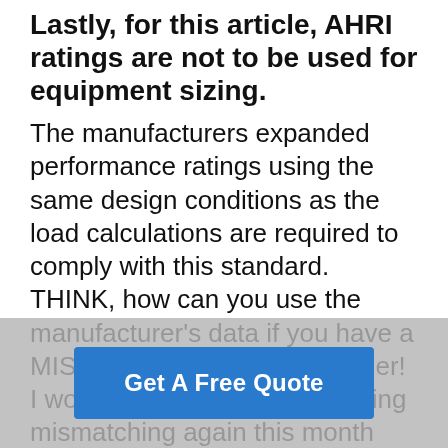Lastly, for this article, AHRI ratings are not to be used for equipment sizing.
The manufacturers expanded performance ratings using the same design conditions as the load calculations are required to comply with this standard. THINK, how can you use the manufacturer's data if you have a MISMATCH? I don't know either! I won't beat the drum concerning mismatching again this month except to say that the practice… homeow… heap
[Figure (other): A blue 'Get A Free Quote' call-to-action button overlaid on a grey semi-transparent overlay at the bottom of the page.]